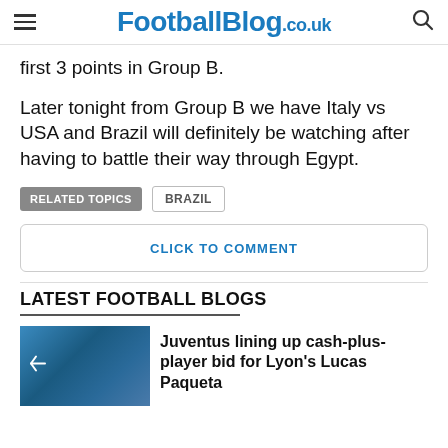FootballBlog.co.uk
first 3 points in Group B.
Later tonight from Group B we have Italy vs USA and Brazil will definitely be watching after having to battle their way through Egypt.
RELATED TOPICS   BRAZIL
CLICK TO COMMENT
LATEST FOOTBALL BLOGS
Juventus lining up cash-plus-player bid for Lyon's Lucas Paqueta